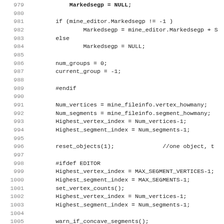Source code listing lines 979-1011, showing C/C++ code with conditional compilation directives and variable assignments related to a mine editor segment processing routine.